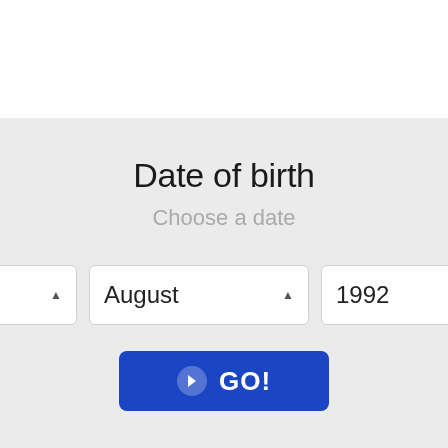Date of birth
Choose a date
[Figure (screenshot): Three dropdown selectors showing day '29', month 'August', and year '1992' for date of birth selection]
[Figure (other): Blue 'GO!' button with right-arrow icon]